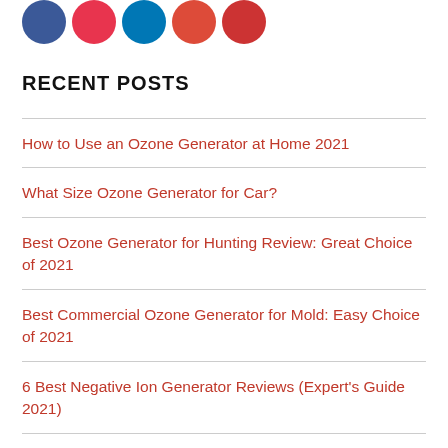[Figure (other): Row of 5 social media icon circles (Facebook blue, Twitter/Pinterest red, LinkedIn blue, Google+ red, Email/share red)]
RECENT POSTS
How to Use an Ozone Generator at Home 2021
What Size Ozone Generator for Car?
Best Ozone Generator for Hunting Review: Great Choice of 2021
Best Commercial Ozone Generator for Mold: Easy Choice of 2021
6 Best Negative Ion Generator Reviews (Expert's Guide 2021)
How To Use A Ozone Generator?